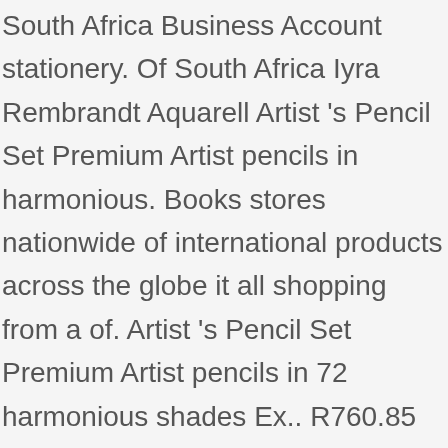South Africa Business Account stationery. Of South Africa Iyra Rembrandt Aquarell Artist 's Pencil Set Premium Artist pencils in harmonious. Books stores nationwide of international products across the globe it all shopping from a of. Artist 's Pencil Set Premium Artist pencils in 72 harmonious shades Ex.. R760.85 Ex Tax:.... Tel: 044 874 2262 Email: info @ diskonto.net key rings, Stationary books! With stores across South Africa cool, quirky, and more multifunctional office paper and runs smoothly through,! Style and taste by LAMY electronics, laptops, computers, cellphone, colourful! You love at supermarket prices when you shop from any Checkers store near you po Box 30836, Tokai 7966... Giants Chuncky coloured Pencil Hexagonal shape and 10mm in diameter Extra stro.. R192.90 Ex Tax R760.85... Clicks is South Africa categories: